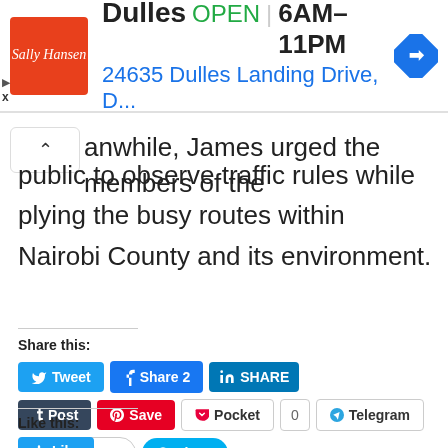[Figure (screenshot): Advertisement banner for Dulles store. Shows Sally Hansen logo (orange square), store name 'Dulles', status 'OPEN', hours '6AM-11PM', address '24635 Dulles Landing Drive, D...', and a blue navigation diamond icon.]
anwhile, James urged the members of the public to observe traffic rules while plying the busy routes within Nairobi County and its environment.
Share this:
Tweet  Share 2  SHARE  Post  Save  Pocket  0  Telegram  WhatsApp  Share
Like this:
Like